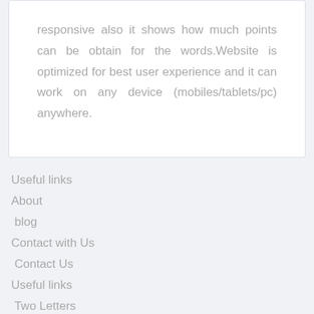responsive also it shows how much points can be obtain for the words.Website is optimized for best user experience and it can work on any device (mobiles/tablets/pc) anywhere.
Useful links
About
blog
Contact with Us
Contact Us
Useful links
Two Letters